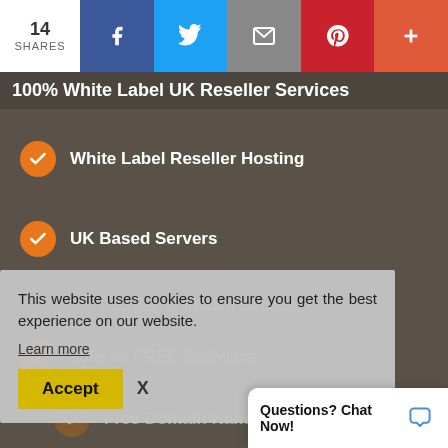14 SHARES
100% White Label UK Reseller Services
White Label Reseller Hosting
UK Based Servers
This website uses cookies to ensure you get the best experience on our website.
Learn more
Accept  X
100s of FREE Software
Free Domain Name
Questions? Chat Now!
WHM & c...